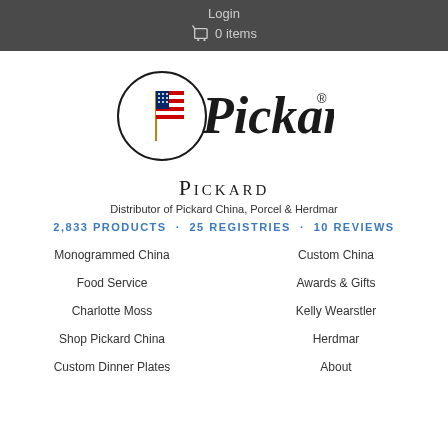Login
🛒 0 items
[Figure (logo): Pickard logo: circle with American flag inside, cursive 'Pickard' text with registered trademark symbol]
Pickard
Distributor of Pickard China, Porcel & Herdmar
2,833 PRODUCTS · 25 REGISTRIES · 10 REVIEWS
Monogrammed China
Custom China
Food Service
Awards & Gifts
Charlotte Moss
Kelly Wearstler
Shop Pickard China
Herdmar
Custom Dinner Plates
About